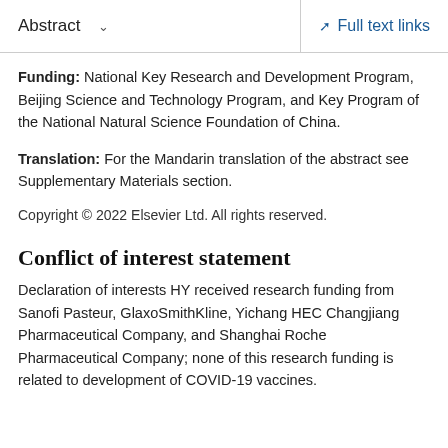Abstract | Full text links
Funding: National Key Research and Development Program, Beijing Science and Technology Program, and Key Program of the National Natural Science Foundation of China.
Translation: For the Mandarin translation of the abstract see Supplementary Materials section.
Copyright © 2022 Elsevier Ltd. All rights reserved.
Conflict of interest statement
Declaration of interests HY received research funding from Sanofi Pasteur, GlaxoSmithKline, Yichang HEC Changjiang Pharmaceutical Company, and Shanghai Roche Pharmaceutical Company; none of this research funding is related to development of COVID-19 vaccines.